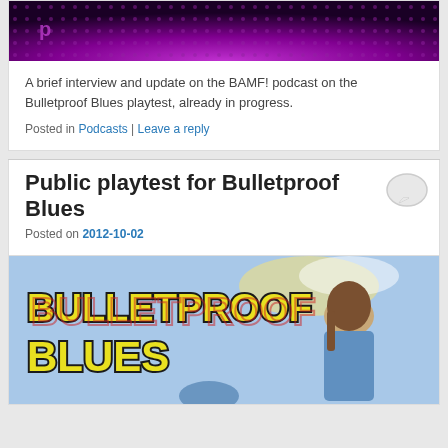[Figure (photo): Dark purple/magenta background with dot pattern, partial logo visible at top]
A brief interview and update on the BAMF! podcast on the Bulletproof Blues playtest, already in progress.
Posted in Podcasts | Leave a reply
Public playtest for Bulletproof Blues
Posted on 2012-10-02
[Figure (illustration): Comic book cover art showing 'Bulletproof Blues' title in yellow letters with black outline, female superhero character on blue sky background]